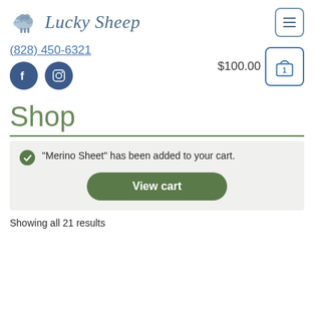Lucky Sheep
(828) 450-6321
$100.00
Shop
"Merino Sheet" has been added to your cart.
View cart
Showing all 21 results